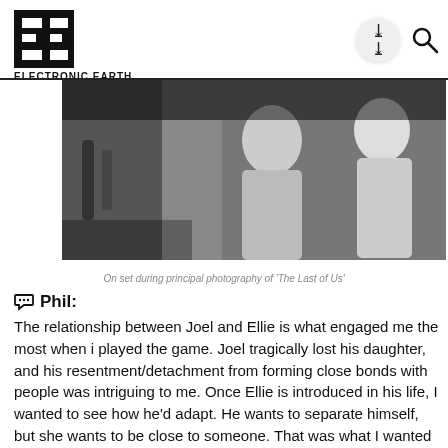Electronic Earth logo with navigation icons and social media bar
[Figure (photo): Black and white on-set photograph during principal photography of 'The Last of Us', showing people at a table in a dimly lit environment.]
On set during principal photography of 'The Last of Us'
Phil: The relationship between Joel and Ellie is what engaged me the most when i played the game. Joel tragically lost his daughter, and his resentment/detachment from forming close bonds with people was intriguing to me. Once Ellie is introduced in his life, I wanted to see how he'd adapt. He wants to separate himself, but she wants to be close to someone. That was what I wanted to see how it could develop in a short on screen; the moment in TLoU when they both lay it out for one another and they...